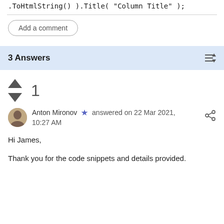.ToHtmlString() ).Title( "Column Title" );
Add a comment
3 Answers
1
Anton Mironov answered on 22 Mar 2021, 10:27 AM
Hi James,
Thank you for the code snippets and details provided.